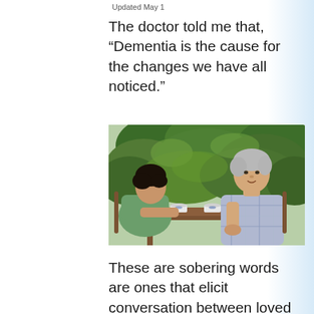Updated May 1
The doctor told me that, “Dementia is the cause for the changes we have all noticed.”
[Figure (photo): Two men sitting at an outdoor wooden table with coffee cups. A younger man with dark hair in a green shirt sits with his back to the camera, facing an older man with grey hair in a plaid shirt who is speaking and gesturing, with lush green plants in the background.]
These are sobering words are ones that elicit conversation between loved ones. The location could be an